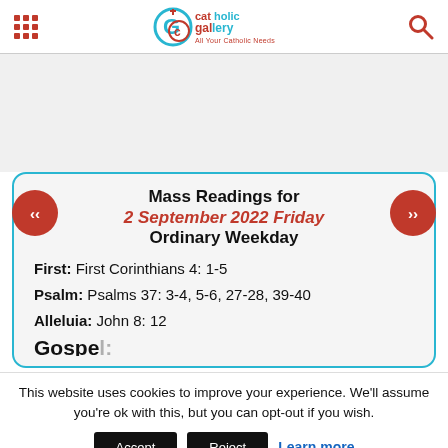Catholic Gallery - All Your Catholic Needs
Mass Readings for 2 September 2022 Friday - Ordinary Weekday
First: First Corinthians 4: 1-5
Psalm: Psalms 37: 3-4, 5-6, 27-28, 39-40
Alleluia: John 8: 12
This website uses cookies to improve your experience. We'll assume you're ok with this, but you can opt-out if you wish.